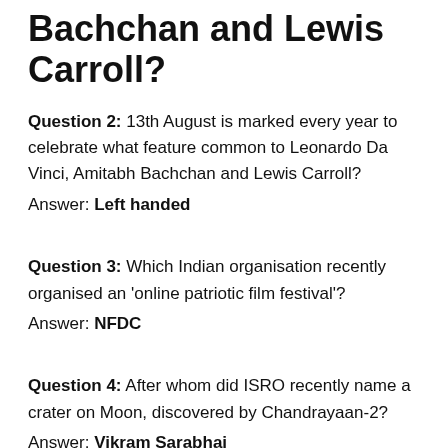Bachchan and Lewis Carroll?
Question 2: 13th August is marked every year to celebrate what feature common to Leonardo Da Vinci, Amitabh Bachchan and Lewis Carroll?
Answer: Left handed
Question 3: Which Indian organisation recently organised an 'online patriotic film festival'?
Answer: NFDC
Question 4: After whom did ISRO recently name a crater on Moon, discovered by Chandrayaan-2?
Answer: Vikram Sarabhai